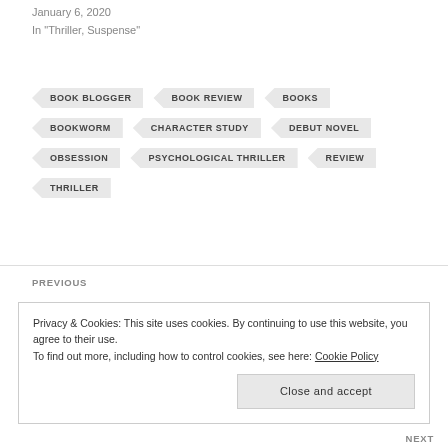January 6, 2020
In "Thriller, Suspense"
BOOK BLOGGER
BOOK REVIEW
BOOKS
BOOKWORM
CHARACTER STUDY
DEBUT NOVEL
OBSESSION
PSYCHOLOGICAL THRILLER
REVIEW
THRILLER
PREVIOUS
Privacy & Cookies: This site uses cookies. By continuing to use this website, you agree to their use.
To find out more, including how to control cookies, see here: Cookie Policy
Close and accept
NEXT